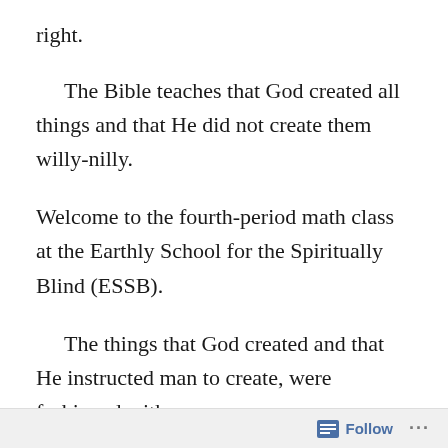right.
The Bible teaches that God created all things and that He did not create them willy-nilly.
Welcome to the fourth-period math class at the Earthly School for the Spiritually Blind (ESSB).
The things that God created and that He instructed man to create, were fashioned with
Follow ...